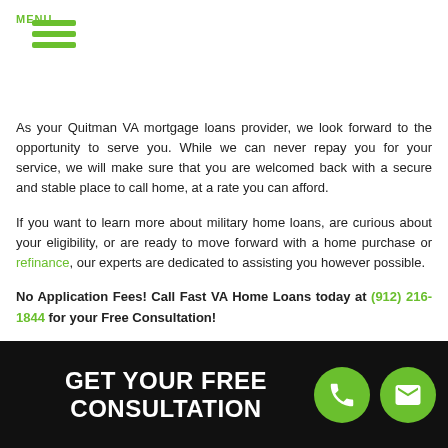MENU
As your Quitman VA mortgage loans provider, we look forward to the opportunity to serve you. While we can never repay you for your service, we will make sure that you are welcomed back with a secure and stable place to call home, at a rate you can afford.
If you want to learn more about military home loans, are curious about your eligibility, or are ready to move forward with a home purchase or refinance, our experts are dedicated to assisting you however possible.
No Application Fees! Call Fast VA Home Loans today at (912) 216-1844 for your Free Consultation!
[Figure (infographic): Black banner with white bold text 'GET YOUR FREE CONSULTATION' and two green circular icons — a phone icon and an email/envelope icon — on the right side.]